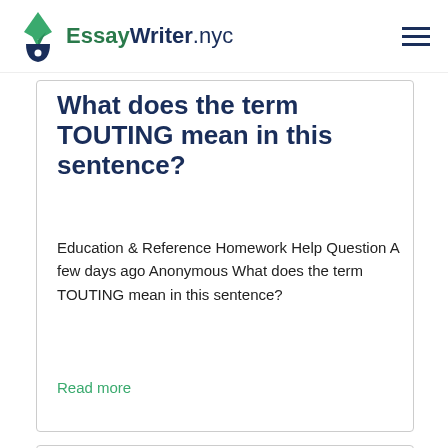EssayWriter.nyc
What does the term TOUTING mean in this sentence?
Education & Reference Homework Help Question A few days ago Anonymous What does the term TOUTING mean in this sentence?
Read more
What are some affordable